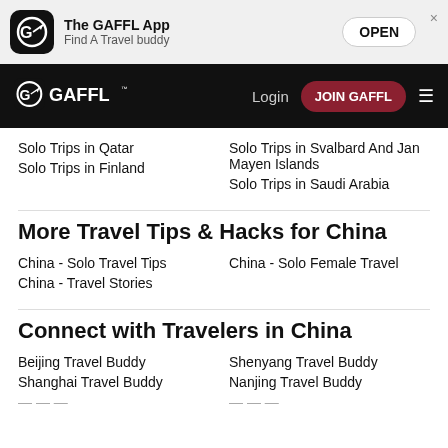The GAFFL App – Find A Travel buddy – OPEN
GAFFL – Login – JOIN GAFFL
Solo Trips in Qatar
Solo Trips in Finland
Solo Trips in Svalbard And Jan Mayen Islands
Solo Trips in Saudi Arabia
More Travel Tips & Hacks for China
China - Solo Travel Tips
China - Travel Stories
China - Solo Female Travel
Connect with Travelers in China
Beijing Travel Buddy
Shanghai Travel Buddy
Shenyang Travel Buddy
Nanjing Travel Buddy